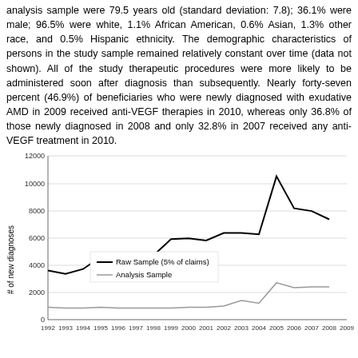analysis sample were 79.5 years old (standard deviation: 7.8); 36.1% were male; 96.5% were white, 1.1% African American, 0.6% Asian, 1.3% other race, and 0.5% Hispanic ethnicity. The demographic characteristics of persons in the study sample remained relatively constant over time (data not shown). All of the study therapeutic procedures were more likely to be administered soon after diagnosis than subsequently. Nearly forty-seven percent (46.9%) of beneficiaries who were newly diagnosed with exudative AMD in 2009 received anti-VEGF therapies in 2010, whereas only 36.8% of those newly diagnosed in 2008 and only 32.8% in 2007 received any anti-VEGF treatment in 2010.
[Figure (line-chart): ]